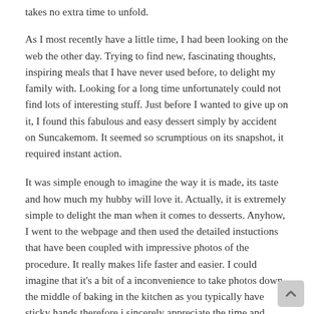takes no extra time to unfold.
As I most recently have a little time, I had been looking on the web the other day. Trying to find new, fascinating thoughts, inspiring meals that I have never used before, to delight my family with. Looking for a long time unfortunately could not find lots of interesting stuff. Just before I wanted to give up on it, I found this fabulous and easy dessert simply by accident on Suncakemom. It seemed so scrumptious on its snapshot, it required instant action.
It was simple enough to imagine the way it is made, its taste and how much my hubby will love it. Actually, it is extremely simple to delight the man when it comes to desserts. Anyhow, I went to the webpage and then used the detailed instuctions that have been coupled with impressive photos of the procedure. It really makes life faster and easier. I could imagine that it's a bit of a inconvenience to take photos down the middle of baking in the kitchen as you typically have sticky hands therefore i sincerely appreciate the time and energy she placed in for making this blogpost and recipe easily implemented.
With that said I'm inspired presenting my very own dishes in a similar way. Many thanks for the concept.